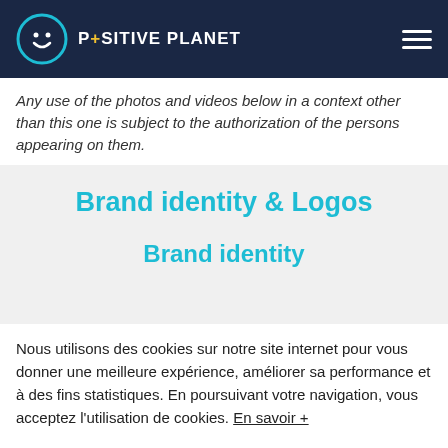P+SITIVE PLANET
Any use of the photos and videos below in a context other than this one is subject to the authorization of the persons appearing on them.
Brand identity & Logos
Brand identity
Nous utilisons des cookies sur notre site internet pour vous donner une meilleure expérience, améliorer sa performance et à des fins statistiques. En poursuivant votre navigation, vous acceptez l'utilisation de cookies. En savoir +